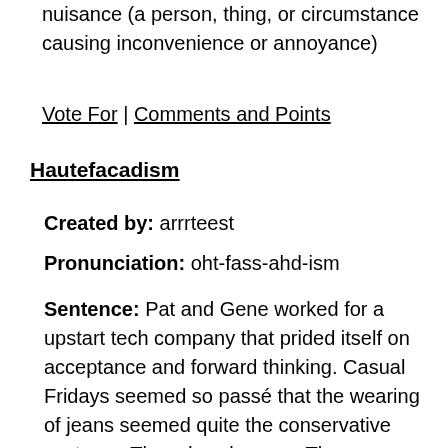nuisance (a person, thing, or circumstance causing inconvenience or annoyance)
Vote For | Comments and Points
Hautefacadism
Created by: arrrteest
Pronunciation: oht-fass-ahd-ism
Sentence: Pat and Gene worked for a upstart tech company that prided itself on acceptance and forward thinking. Casual Fridays seemed so passé that the wearing of jeans seemed quite the conservative costume. Thursdays became Thong Thursdays, Wednesdays became a true Hump Day where employees